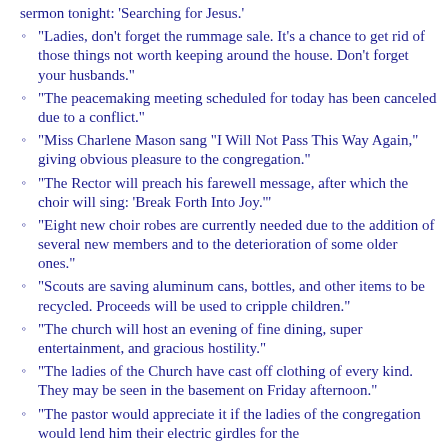sermon tonight: 'Searching for Jesus.'
"Ladies, don't forget the rummage sale. It's a chance to get rid of those things not worth keeping around the house. Don't forget your husbands."
"The peacemaking meeting scheduled for today has been canceled due to a conflict."
"Miss Charlene Mason sang "I Will Not Pass This Way Again," giving obvious pleasure to the congregation."
"The Rector will preach his farewell message, after which the choir will sing: 'Break Forth Into Joy.'"
"Eight new choir robes are currently needed due to the addition of several new members and to the deterioration of some older ones."
"Scouts are saving aluminum cans, bottles, and other items to be recycled. Proceeds will be used to cripple children."
"The church will host an evening of fine dining, super entertainment, and gracious hostility."
"The ladies of the Church have cast off clothing of every kind. They may be seen in the basement on Friday afternoon."
"The pastor would appreciate it if the ladies of the congregation would lend him their electric girdles for the